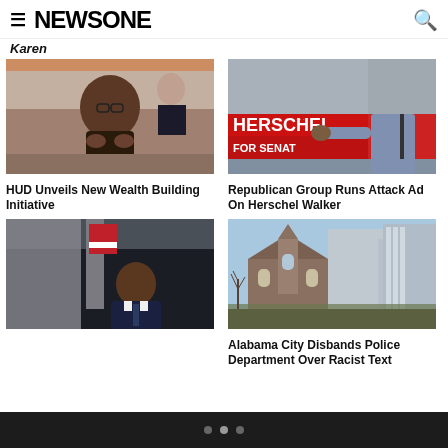NEWSONE
Karen
[Figure (photo): Woman with glasses at a community event, clapping hands]
HUD Unveils New Wealth Building Initiative
[Figure (photo): Man at Herschel for Senate campaign event, pointing]
Republican Group Runs Attack Ad On Herschel Walker
[Figure (photo): Man in suit at podium with American flag]
[Figure (photo): Urban street with historic church building and modern skyscrapers in Alabama city]
Alabama City Disbands Police Department Over Racist Text